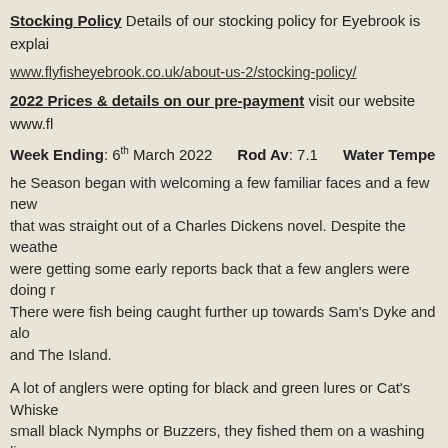Stocking Policy Details of our stocking policy for Eyebrook is explai...
www.flyfisheyebrook.co.uk/about-us-2/stocking-policy/
2022 Prices & details on our pre-payment visit our website www.fl...
Week Ending: 6th March 2022    Rod Av: 7.1    Water Tempe...
he Season began with welcoming a few familiar faces and a few new... that was straight out of a Charles Dickens novel. Despite the weathe... were getting some early reports back that a few anglers were doing r... There were fish being caught further up towards Sam's Dyke and alc... and The Island.
A lot of anglers were opting for black and green lures or Cat's Whiske... small black Nymphs or Buzzers, they fished them on a washing line e... were doing fantastic and enjoying the great sport.
Saturday was a really windy day with wind speeds at 21mph from the... anglers with a majority of anglers calling it quits and heading for war...